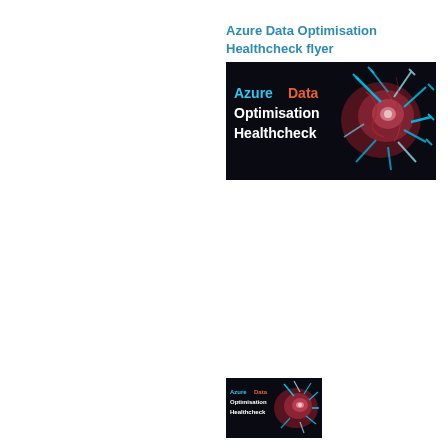Azure Data Optimisation Healthcheck flyer
[Figure (illustration): Dark background promotional image for 'Azure Data Optimisation Healthcheck' with text on the left in blue and orange/white and an abstract glowing red and blue network/explosion graphic on the right.]
[Figure (illustration): Smaller thumbnail version of the same 'Azure Data Optimisation Healthcheck' promotional image with similar dark background and glowing network graphic.]